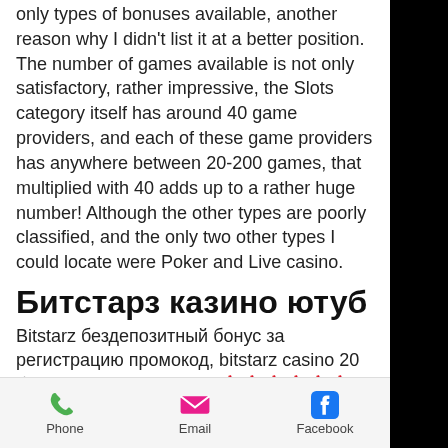only types of bonuses available, another reason why I didn't list it at a better position. The number of games available is not only satisfactory, rather impressive, the Slots category itself has around 40 game providers, and each of these game providers has anywhere between 20-200 games, that multiplied with 40 adds up to a rather huge number! Although the other types are poorly classified, and the only two other types I could locate were Poker and Live casino.
Битстарз казино ютуб
Bitstarz бездепозитный бонус за регистрацию промокод, bitstarz casino 20 бесплатные вращения | 🎰🎰🎰🎰🎰🎰 | 🎰🎰🎰🎰🎰🎰🎰🎰 🎰 🎰🎰🎰:. Фриспины без депозита &amp; бесплатные вращения на депозит &amp; другие промо акции и бонус коды. 30 free
Phone   Email   Facebook